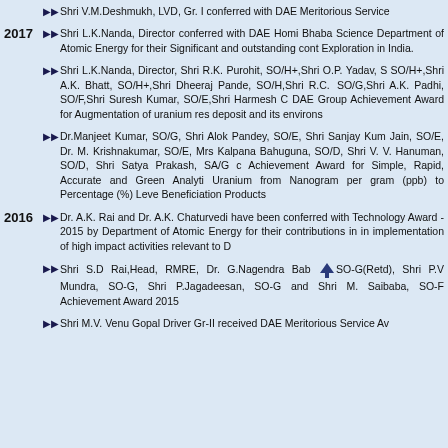Shri V.M.Deshmukh, LVD, Gr. I conferred with DAE Meritorious Service…
2017 — Shri L.K.Nanda, Director conferred with DAE Homi Bhaba Science… Department of Atomic Energy for their Significant and outstanding cont… Exploration in India.
Shri L.K.Nanda, Director, Shri R.K. Purohit, SO/H+,Shri O.P. Yadav, S… SO/H+,Shri A.K. Bhatt, SO/H+,Shri Dheeraj Pande, SO/H,Shri R.C. … SO/G,Shri A.K. Padhi, SO/F,Shri Suresh Kumar, SO/E,Shri Harmesh C… DAE Group Achievement Award for Augmentation of uranium res… deposit and its environs
Dr.Manjeet Kumar, SO/G, Shri Alok Pandey, SO/E, Shri Sanjay Kum… Jain, SO/E, Dr. M. Krishnakumar, SO/E, Mrs Kalpana Bahuguna,… SO/D, Shri V. V. Hanuman, SO/D, Shri Satya Prakash, SA/G c… Achievement Award for Simple, Rapid, Accurate and Green Analyti… Uranium from Nanogram per gram (ppb) to Percentage (%) Leve… Beneficiation Products
2016 — Dr. A.K. Rai and Dr. A.K. Chaturvedi have been conferred with… Technology Award - 2015 by Department of Atomic Energy for their… contributions in in implementation of high impact activities relevant to D…
Shri S.D Rai,Head, RMRE, Dr. G.Nagendra Bab…SO-G(Retd), Shri P.V… Mundra, SO-G, Shri P.Jagadeesan, SO-G and Shri M. Saibaba, SO-F… Achievement Award 2015
Shri M.V. Venu Gopal Driver Gr-II received DAE Meritorious Service Aw…